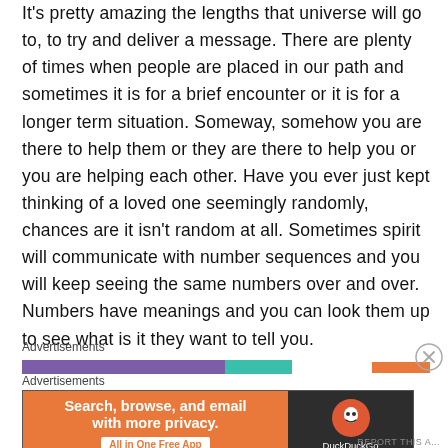It's pretty amazing the lengths that universe will go to, to try and deliver a message. There are plenty of times when people are placed in our path and sometimes it is for a brief encounter or it is for a longer term situation. Someway, somehow you are there to help them or they are there to help you or you are helping each other. Have you ever just kept thinking of a loved one seemingly randomly, chances are it isn't random at all. Sometimes spirit will communicate with number sequences and you will keep seeing the same numbers over and over. Numbers have meanings and you can look them up to see what is it they want to tell you.
Advertisements
[Figure (infographic): Advertisement banner with purple, teal, and orange bars with a close button]
Advertisements
[Figure (infographic): DuckDuckGo advertisement banner: Search, browse, and email with more privacy. All in One Free App. Orange background on left, dark background with DuckDuckGo logo on right.]